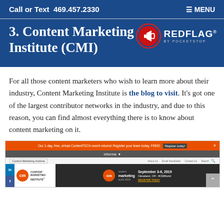Call or Text  469.457.2330  ≡ MENU
[Figure (logo): RedFlag by Pocketstop logo — circular icon with megaphone in red and white, followed by REDFLAG text in white with 'BY POCKETSTOP' below in small caps]
3. Content Marketing Institute (CMI)
For all those content marketers who wish to learn more about their industry, Content Marketing Institute is the blog to visit. It's got one of the largest contributor networks in the industry, and due to this reason, you can find almost everything there is to know about content marketing on it.
[Figure (screenshot): Screenshot of the Content Marketing Institute website showing an orange notification bar at top, dark navigation bar with 'informa' text, white nav with CMI logo and links, and a banner for Content Marketing World event September 3-6, 2019 in Cleveland, OH with social media icons on left side]